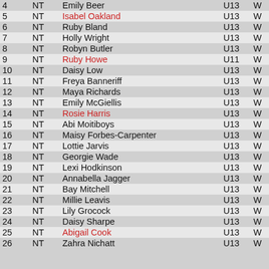| # | Code | Name | Cat | Gen | Score |
| --- | --- | --- | --- | --- | --- |
| 4 | NT | Emily Beer | U13 | W |  |
| 5 | NT | Isabel Oakland | U13 | W | 1 |
| 6 | NT | Ruby Bland | U13 | W |  |
| 7 | NT | Holly Wright | U13 | W |  |
| 8 | NT | Robyn Butler | U13 | W |  |
| 9 | NT | Ruby Howe | U11 | W | -3 |
| 10 | NT | Daisy Low | U13 | W |  |
| 11 | NT | Freya Banneriff | U13 | W |  |
| 12 | NT | Maya Richards | U13 | W |  |
| 13 | NT | Emily McGiellis | U13 | W |  |
| 14 | NT | Rosie Harris | U13 | W | 1 |
| 15 | NT | Abi Moitiboys | U13 | W |  |
| 16 | NT | Maisy Forbes-Carpenter | U13 | W |  |
| 17 | NT | Lottie Jarvis | U13 | W |  |
| 18 | NT | Georgie Wade | U13 | W |  |
| 19 | NT | Lexi Hodkinson | U13 | W |  |
| 20 | NT | Annabella Jagger | U13 | W |  |
| 21 | NT | Bay Mitchell | U13 | W |  |
| 22 | NT | Millie Leavis | U13 | W |  |
| 23 | NT | Lily Grocock | U13 | W |  |
| 24 | NT | Daisy Sharpe | U13 | W |  |
| 25 | NT | Abigail Cook | U13 | W | 1 |
| 26 | NT | Zahra Nichatt | U13 | W |  |